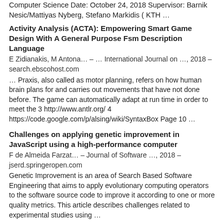Computer Science Date: October 24, 2018 Supervisor: Barnik Nesic/Mattiyas Nyberg, Stefano Markidis ( KTH …
Activity Analysis (ACTA): Empowering Smart Game Design With A General Purpose Fsm Description Language
E Zidianakis, M Antona… – … International Journal on …, 2018 – search.ebscohost.com
… Praxis, also called as motor planning, refers on how human brain plans for and carries out movements that have not done before. The game can automatically adapt at run time in order to meet the 3 http://www.antlr.org/ 4 https://code.google.com/p/alsing/wiki/SyntaxBox Page 10 …
Challenges on applying genetic improvement in JavaScript using a high-performance computer
F de Almeida Farzat… – Journal of Software …, 2018 – jserd.springeropen.com
Genetic Improvement is an area of Search Based Software Engineering that aims to apply evolutionary computing operators to the software source code to improve it according to one or more quality metrics. This article describes challenges related to experimental studies using …
Autolog Design Book